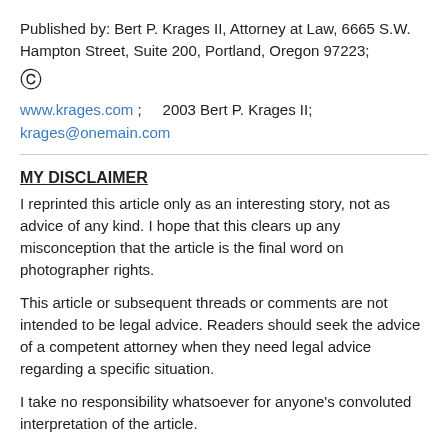Published by: Bert P. Krages II, Attorney at Law, 6665 S.W. Hampton Street, Suite 200, Portland, Oregon 97223;
© www.krages.com ; 2003 Bert P. Krages II;
krages@onemain.com
MY DISCLAIMER
I reprinted this article only as an interesting story, not as advice of any kind. I hope that this clears up any misconception that the article is the final word on photographer rights.
This article or subsequent threads or comments are not intended to be legal advice. Readers should seek the advice of a competent attorney when they need legal advice regarding a specific situation.
I take no responsibility whatsoever for anyone's convoluted interpretation of the article.
(I can't believe it's come to this.)